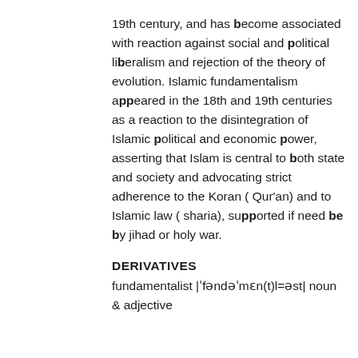19th century, and has become associated with reaction against social and political liberalism and rejection of the theory of evolution. Islamic fundamentalism appeared in the 18th and 19th centuries as a reaction to the disintegration of Islamic political and economic power, asserting that Islam is central to both state and society and advocating strict adherence to the Koran ( Qur'an) and to Islamic law ( sharia), supported if need be by jihad or holy war.
DERIVATIVES
fundamentalist |ˈfəndəˈmɛn(t)l=əst| noun & adjective